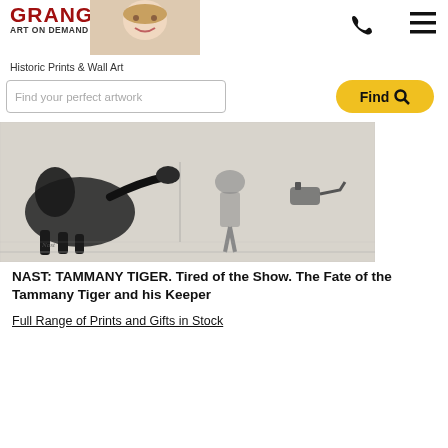GRANGER ART ON DEMAND
Historic Prints & Wall Art
Find your perfect artwork
[Figure (photo): Black and white illustration of Tammany Tiger political cartoon by Thomas Nast, showing a tiger and figures]
NAST: TAMMANY TIGER. Tired of the Show. The Fate of the Tammany Tiger and his Keeper
Full Range of Prints and Gifts in Stock